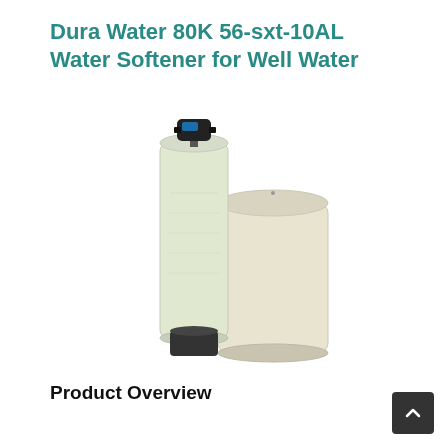Dura Water 80K 56-sxt-10AL Water Softener for Well Water
[Figure (photo): Product photo of a Dura Water 80K water softener system consisting of a tall cylindrical resin tank with a black control valve head on top and a shorter brine tank beside it, both in light beige/cream color.]
Product Overview